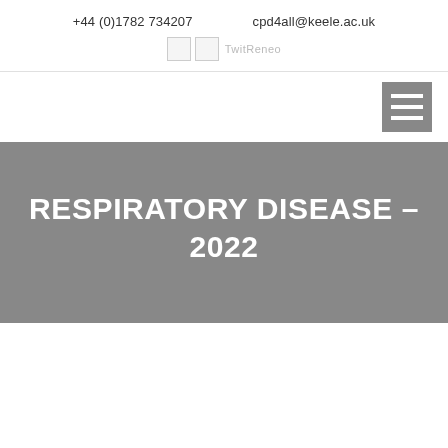+44 (0)1782 734207    cpd4all@keele.ac.uk
[Figure (logo): Social media icons (Twitter and LinkedIn/Linkedin) with labels TwitReneo]
[Figure (other): Hamburger menu icon (grey square with three white horizontal lines), positioned top right]
RESPIRATORY DISEASE – 2022